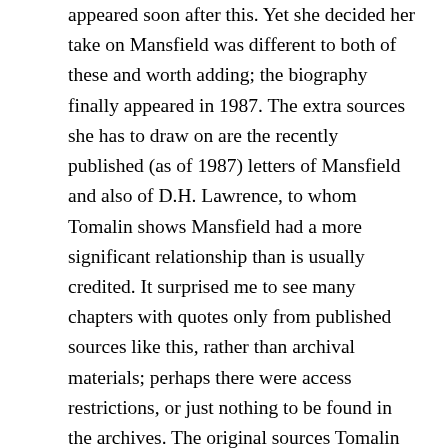appeared soon after this. Yet she decided her take on Mansfield was different to both of these and worth adding; the biography finally appeared in 1987. The extra sources she has to draw on are the recently published (as of 1987) letters of Mansfield and also of D.H. Lawrence, to whom Tomalin shows Mansfield had a more significant relationship than is usually credited. It surprised me to see many chapters with quotes only from published sources like this, rather than archival materials; perhaps there were access restrictions, or just nothing to be found in the archives. The original sources Tomalin uses are largely interviews conducted by her or on her behalf with people who knew Mansfield as a child. It's amazing so many of them were alive, even in the 1970s; longevity seems to have been on the biographer's side, with one woman who knew her intensely as a young woman living on to over one hundred. Why, though, weren't there more comparable interviews with people who knew her in her twenties and thirties? One